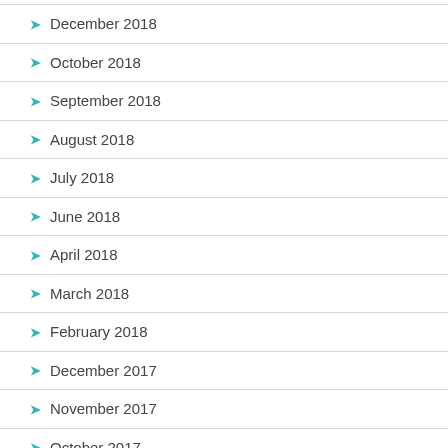December 2018
October 2018
September 2018
August 2018
July 2018
June 2018
April 2018
March 2018
February 2018
December 2017
November 2017
October 2017
September 2017
August 2017